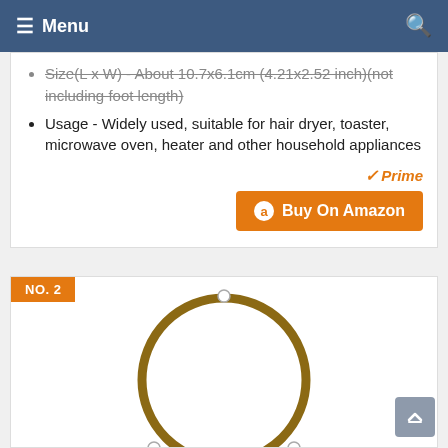Menu
Size(L x W) - About 10.7x6.1cm (4.21x2.52 inch)(not including foot length)
Usage - Widely used, suitable for hair dryer, toaster, microwave oven, heater and other household appliances
[Figure (other): Amazon Prime badge with checkmark and 'Prime' text in orange italic, followed by orange 'Buy On Amazon' button with Amazon 'a' logo]
NO. 2
[Figure (photo): Microwave oven turntable ring/roller guide shown on white background]